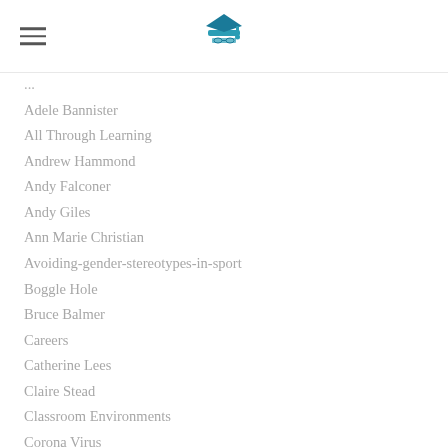[logo: graduation cap icon]
...
Adele Bannister
All Through Learning
Andrew Hammond
Andy Falconer
Andy Giles
Ann Marie Christian
Avoiding-gender-stereotypes-in-sport
Boggle Hole
Bruce Balmer
Careers
Catherine Lees
Claire Stead
Classroom Environments
Corona Virus
Crisis Management
Dave Harris
David Limb
David Mi...